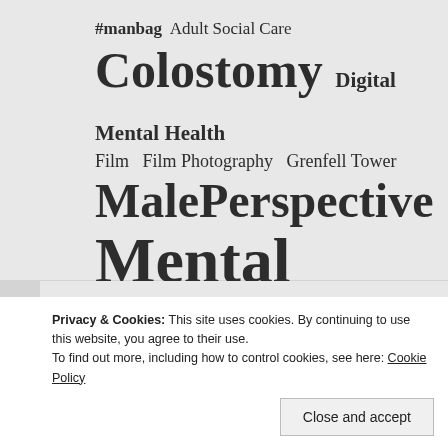[Figure (infographic): Tag cloud showing various health-related topics in varying font sizes: #manbag, Adult Social Care, Colostomy, Digital Mental Health, Film, Film Photography, Grenfell Tower, MalePerspective, Mental Health, Mental Well Being]
Privacy & Cookies: This site uses cookies. By continuing to use this website, you agree to their use.
To find out more, including how to control cookies, see here: Cookie Policy
Close and accept